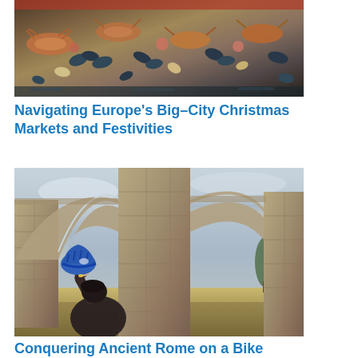[Figure (photo): Overhead view of a seafood and shellfish market stall with colorful crustaceans and shellfish on display]
Navigating Europe’s Big–City Christmas Markets and Festivities
[Figure (photo): Person wearing a blue bicycle helmet looking up at ancient Roman stone aqueduct arches with pine trees in the background]
Conquering Ancient Rome on a Bike